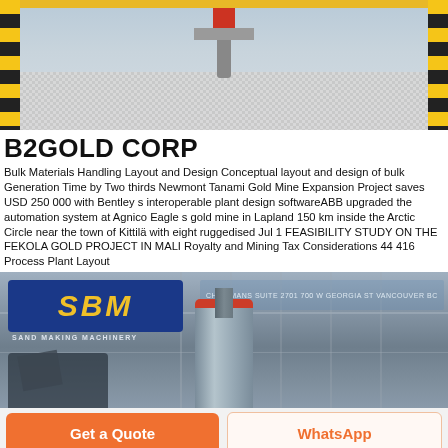[Figure (photo): Industrial mining equipment photo showing aggregate/gravel material with yellow-black striped borders and machinery]
B2GOLD CORP
Bulk Materials Handling Layout and Design Conceptual layout and design of bulk Generation Time by Two thirds Newmont Tanami Gold Mine Expansion Project saves USD 250 000 with Bentley s interoperable plant design softwareABB upgraded the automation system at Agnico Eagle s gold mine in Lapland 150 km inside the Arctic Circle near the town of Kittilä with eight ruggedised Jul 1 FEASIBILITY STUDY ON THE FEKOLA GOLD PROJECT IN MALI Royalty and Mining Tax Considerations 44 416 Process Plant Layout
[Figure (photo): Industrial factory interior with SBM Sand Making Machinery banner/signage, large cylindrical tank with pipe, structural steel framework]
Get a Quote
WhatsApp